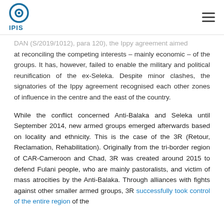IPIS
...DAN (S/2019/1012), para 120), the Ippy agreement aimed at reconciling the competing interests – mainly economic – of the groups. It has, however, failed to enable the military and political reunification of the ex-Seleka. Despite minor clashes, the signatories of the Ippy agreement recognised each other zones of influence in the centre and the east of the country.
While the conflict concerned Anti-Balaka and Seleka until September 2014, new armed groups emerged afterwards based on locality and ethnicity. This is the case of the 3R (Retour, Reclamation, Rehabilitation). Originally from the tri-border region of CAR-Cameroon and Chad, 3R was created around 2015 to defend Fulani people, who are mainly pastoralists, and victim of mass atrocities by the Anti-Balaka. Through alliances with fights against other smaller armed groups, 3R successfully took control of the entire region of the